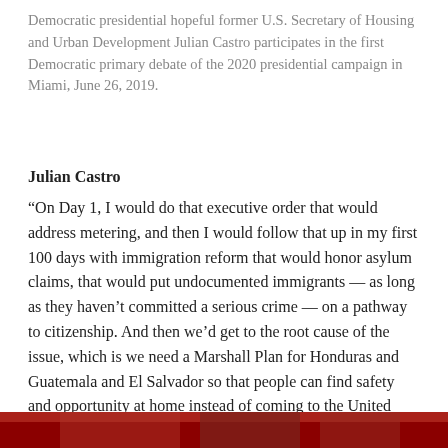Democratic presidential hopeful former U.S. Secretary of Housing and Urban Development Julian Castro participates in the first Democratic primary debate of the 2020 presidential campaign in Miami, June 26, 2019.
Julian Castro
“On Day 1, I would do that executive order that would address metering, and then I would follow that up in my first 100 days with immigration reform that would honor asylum claims, that would put undocumented immigrants — as long as they haven’t committed a serious crime — on a pathway to citizenship. And then we’d get to the root cause of the issue, which is we need a Marshall Plan for Honduras and Guatemala and El Salvador so that people can find safety and opportunity at home instead of coming to the United States to seek it.”
[Figure (photo): Bottom strip showing partial photo with red/dark tones, likely a person at a debate podium.]